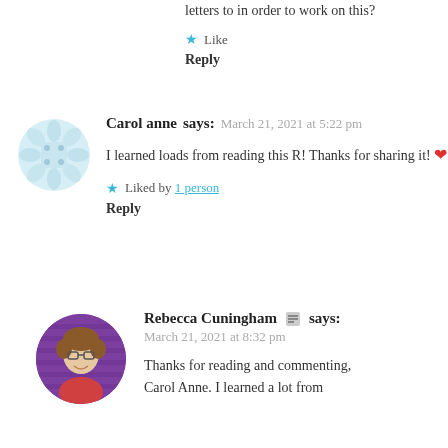letters to in order to work on this?
★ Like
Reply
[Figure (illustration): Light blue circular avatar placeholder icon with dice/dots pattern]
Carol anne says:  March 21, 2021 at 5:22 pm
I learned loads from reading this R! Thanks for sharing it! ❤
★ Liked by 1 person
Reply
[Figure (photo): Circular profile photo of Rebecca Cuningham, a woman with glasses smiling, in front of purple background]
Rebecca Cuningham 🖊 says:
March 21, 2021 at 8:32 pm
Thanks for reading and commenting, Carol Anne. I learned a lot from